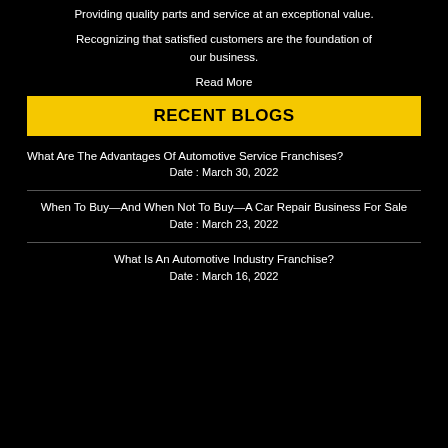Providing quality parts and service at an exceptional value.
Recognizing that satisfied customers are the foundation of our business.
Read More
RECENT BLOGS
What Are The Advantages Of Automotive Service Franchises?
Date : March 30, 2022
When To Buy—And When Not To Buy—A Car Repair Business For Sale
Date : March 23, 2022
What Is An Automotive Industry Franchise?
Date : March 16, 2022